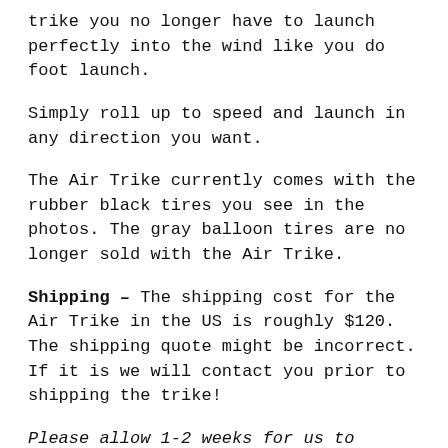trike you no longer have to launch perfectly into the wind like you do foot launch.
Simply roll up to speed and launch in any direction you want.
The Air Trike currently comes with the rubber black tires you see in the photos. The gray balloon tires are no longer sold with the Air Trike.
Shipping – The shipping cost for the Air Trike in the US is roughly $120. The shipping quote might be incorrect. If it is we will contact you prior to shipping the trike!
Please allow 1-2 weeks for us to assemble, pack, and ship the Air Trike to you.
YOU MAY ALSO LIKE